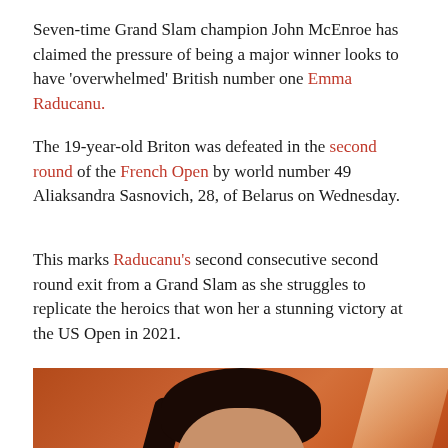Seven-time Grand Slam champion John McEnroe has claimed the pressure of being a major winner looks to have 'overwhelmed' British number one Emma Raducanu.
The 19-year-old Briton was defeated in the second round of the French Open by world number 49 Aliaksandra Sasnovich, 28, of Belarus on Wednesday.
This marks Raducanu's second consecutive second round exit from a Grand Slam as she struggles to replicate the heroics that won her a stunning victory at the US Open in 2021.
[Figure (photo): Photo of Emma Raducanu looking down, on an orange/red clay court background, wearing a light blue tennis outfit, hair pulled back.]